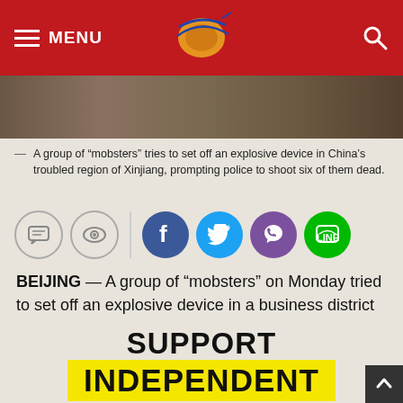MENU [logo] [search]
[Figure (photo): Photo of people in military/camouflage clothing in Xinjiang]
A group of “mobsters” tries to set off an explosive device in China’s troubled region of Xinjiang, prompting police to shoot six of them dead.
[Figure (other): Social sharing icons: comment, watch, Facebook, Twitter, Viber, Line]
BEIJING — A group of “mobsters” on Monday tried to set off an explosive device in a business district in China’s troubled western region of Xinjiang, prompting police to shoot six of them dead, the local government said.
SUPPORT INDEPENDENT